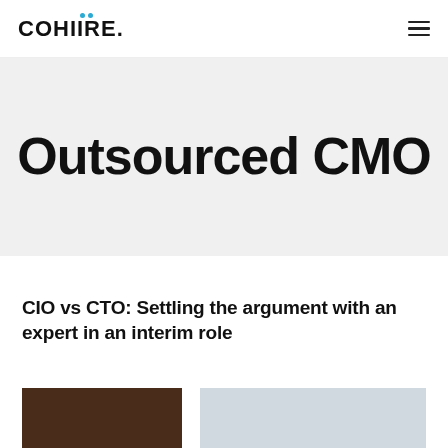COHIIRE
Outsourced CMO
CIO vs CTO: Settling the argument with an expert in an interim role
[Figure (photo): Partial article thumbnail showing a dark wood desk on the left side and a light blurred office background on the right side.]